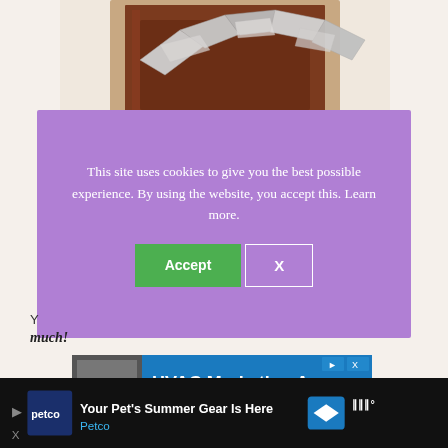[Figure (illustration): Illustration of a brown door with a silver/metallic paper chain or banner streamer across it, on a beige background]
This site uses cookies to give you the best possible experience. By using the website, you accept this. Learn more.
Accept
X
Y...
much!
[Figure (screenshot): HVAC Marketing Agency advertisement banner with blue background]
[Figure (screenshot): Bottom advertisement bar: Petco 'Your Pet's Summer Gear Is Here' ad on dark background with navigation icons]